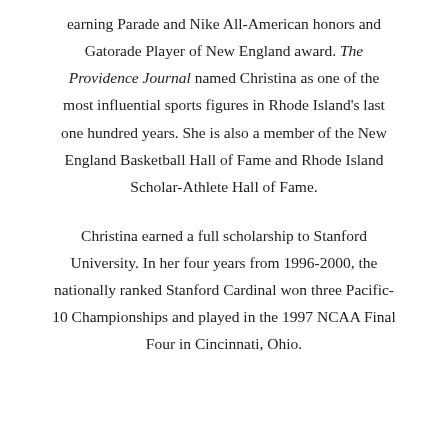earning Parade and Nike All-American honors and Gatorade Player of New England award. The Providence Journal named Christina as one of the most influential sports figures in Rhode Island's last one hundred years. She is also a member of the New England Basketball Hall of Fame and Rhode Island Scholar-Athlete Hall of Fame.
Christina earned a full scholarship to Stanford University. In her four years from 1996-2000, the nationally ranked Stanford Cardinal won three Pacific-10 Championships and played in the 1997 NCAA Final Four in Cincinnati, Ohio.